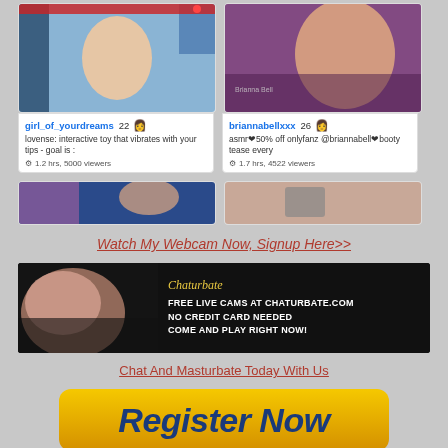[Figure (screenshot): Webcam thumbnail for girl_of_yourdreams]
girl_of_yourdreams 22
lovense: interactive toy that vibrates with your tips - goal is :
1.2 hrs, 5000 viewers
[Figure (screenshot): Webcam thumbnail for briannabellxxx]
briannabellxxx 26
asmr❤50% off onlyfanz @briannabell❤booty tease every
1.7 hrs, 4522 viewers
[Figure (screenshot): Partial webcam thumbnail row]
Watch My Webcam Now, Signup Here>>
[Figure (photo): Chaturbate banner ad with woman and text: FREE LIVE CAMS AT CHATURBATE.COM NO CREDIT CARD NEEDED COME AND PLAY RIGHT NOW!]
Chat And Masturbate Today With Us
[Figure (other): Register Now button in gold/yellow with dark blue bold italic text]